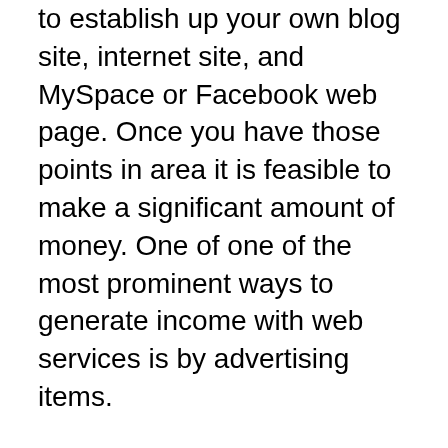to establish up your own blog site, internet site, and MySpace or Facebook web page. Once you have those points in area it is feasible to make a significant amount of money. One of one of the most prominent ways to generate income with web services is by advertising items.
Freelancing is an additional fantastic instance of an organization chance that does not call for an initial financial investment of cash or time. Freelancers are independent developers, developers, programmers, etc. that can use numerous kinds of services for small costs? Some freelancers work as freelance designers on internet sites as well as use standard coding services. Others use freelance customer service assistance, and also help on the manage the wants of